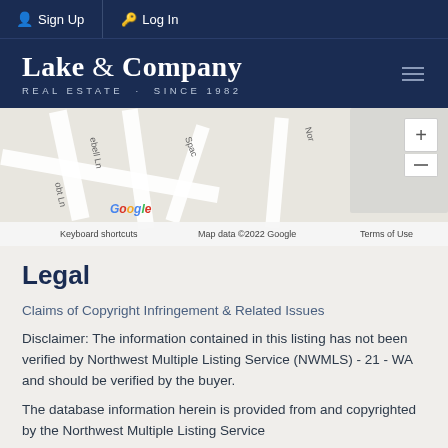Sign Up  Log In
Lake & Company REAL ESTATE · SINCE 1982
[Figure (map): Google Maps street map showing local roads including Spac, ebell Ln, and Nor streets. Bottom bar shows: Keyboard shortcuts  Map data ©2022 Google  Terms of Use]
Legal
Claims of Copyright Infringement & Related Issues
Disclaimer: The information contained in this listing has not been verified by Northwest Multiple Listing Service (NWMLS) - 21 - WA and should be verified by the buyer.
The database information herein is provided from and copyrighted by the Northwest Multiple Listing Service